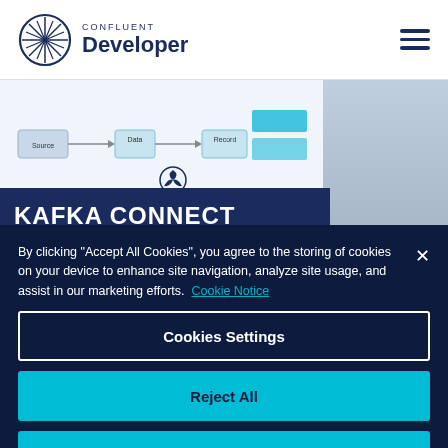[Figure (logo): Confluent Developer logo with star-burst circle icon and text 'CONFLUENT Developer']
[Figure (screenshot): Kafka Connect diagram showing Source, Data, Record, Kafka Connect labels over a light background, with a woman in blue shirt visible on right side]
KAFKA CONNECT
By clicking "Accept All Cookies", you agree to the storing of cookies on your device to enhance site navigation, analyze site usage, and assist in our marketing efforts.  Cookie Notice
Cookies Settings
Reject All
Accept All Cookies